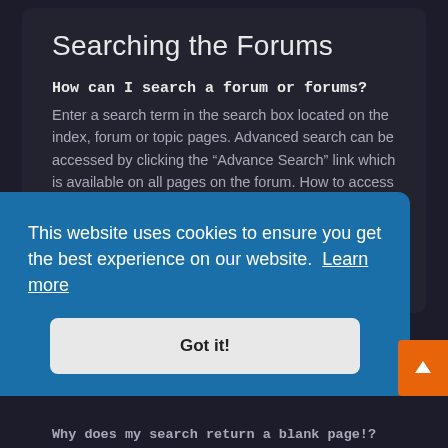Searching the Forums
How can I search a forum or forums?
Enter a search term in the search box located on the index, forum or topic pages. Advanced search can be accessed by clicking the “Advance Search” link which is available on all pages on the forum. How to access the search may depend on the style used.
▲ Top
Why does my search return no results?
This website uses cookies to ensure you get the best experience on our website. Learn more
Got it!
Why does my search return a blank page!?